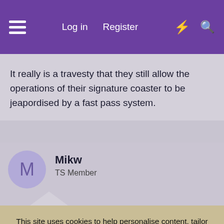Log in  Register
It really is a travesty that they still allow the operations of their signature coaster to be jeapordised by a fast pass system.
Mikw
TS Member
This site uses cookies to help personalise content, tailor your experience and to keep you logged in if you register. By continuing to use this site, you are consenting to our use of cookies.